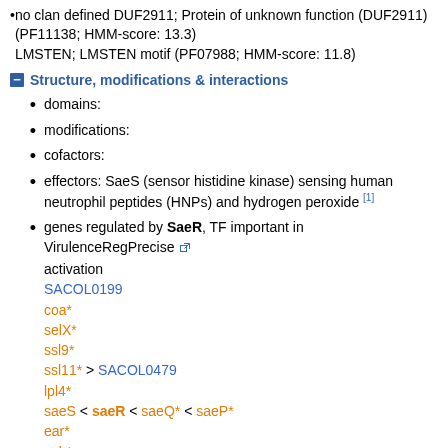no clan defined DUF2911; Protein of unknown function (DUF2911) (PF11138; HMM-score: 13.3)
LMSTEN; LMSTEN motif (PF07988; HMM-score: 11.8)
Structure, modifications & interactions
domains:
modifications:
cofactors:
effectors: SaeS (sensor histidine kinase) sensing human neutrophil peptides (HNPs) and hydrogen peroxide [1]
genes regulated by SaeR, TF important in VirulenceRegPrecise
activation
SACOL0199
coa*
selX*
ssl9*
ssl11* > SACOL0479
lpl4*
saeS < saeR < saeQ* < saeP*
ear*
ecb*
efb
hlY